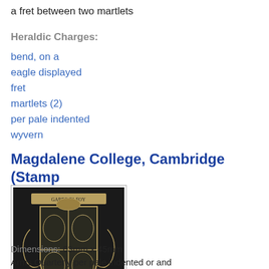a fret between two martlets
Heraldic Charges:
bend, on a
eagle displayed
fret
martlets (2)
per pale indented
wyvern
Magdalene College, Cambridge (Stamp 3)
[Figure (photo): A heraldic stamp/seal of Magdalene College Cambridge showing a coat of arms on dark background]
Dimensions: 63mm x 45mm
Arms Quarterly per pale indented or and